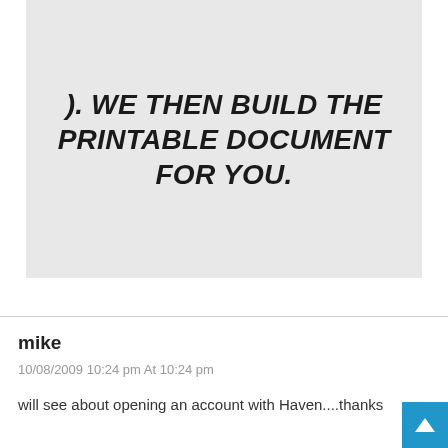( ... TO OUR TECHNICAL SPECIFICATIONS ). WE THEN BUILD THE PRINTABLE DOCUMENT FOR YOU.
mike
10/08/2009 10:24 pm At 10:24 pm
will see about opening an account with Haven....thanks